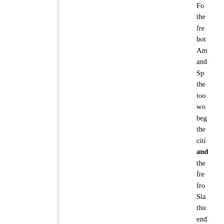For the fre- both Am- and Sp- the too wo- beg- the citi- and the fre- from Sla- thu- end the las- ves- of Sla-